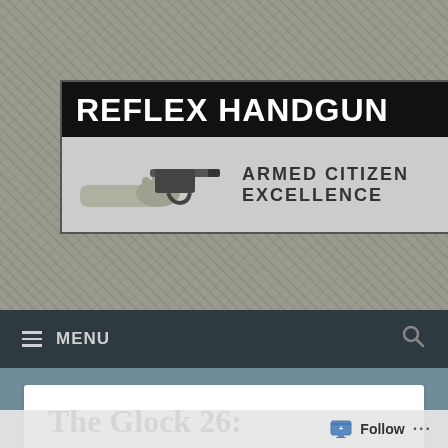[Figure (screenshot): Website header for Reflex Handgun blog with logo, banner reading ARMED CITIZEN EXCELLENCE with a hand holding a gun image, navigation menu bar with hamburger menu and search icon, and partial article title The Glock 26:]
REFLEX HANDGUN
ARMED CITIZEN EXCELLENCE
≡ MENU
The Glock 26:
Follow